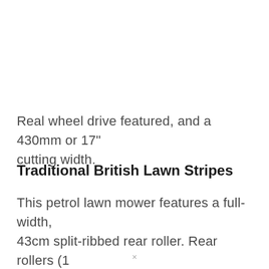Real wheel drive featured, and a 430mm or 17" cutting width.
Traditional British Lawn Stripes
This petrol lawn mower features a full-width, 43cm split-ribbed rear roller. Rear rollers (1 more) allow you to achieve that traditional British
×